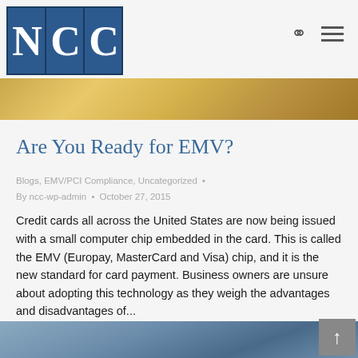NCC
Are You Ready for EMV?
Blogs, EMV/PCI Compliance, Uncategorized · By ncc-wp-admin · October 27, 2015
Credit cards all across the United States are now being issued with a small computer chip embedded in the card. This is called the EMV (Europay, MasterCard and Visa) chip, and it is the new standard for card payment. Business owners are unsure about adopting this technology as they weigh the advantages and disadvantages of...